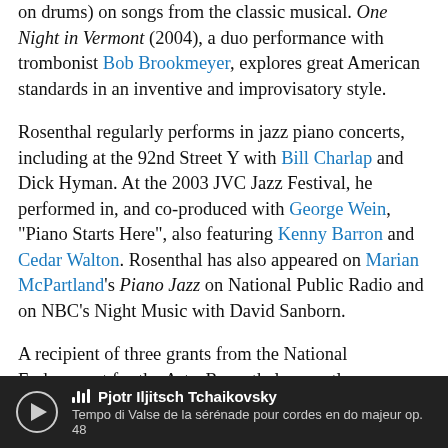on drums) on songs from the classic musical. One Night in Vermont (2004), a duo performance with trombonist Bob Brookmeyer, explores great American standards in an inventive and improvisatory style.
Rosenthal regularly performs in jazz piano concerts, including at the 92nd Street Y with Bill Charlap and Dick Hyman. At the 2003 JVC Jazz Festival, he performed in, and co-produced with George Wein, "Piano Starts Here", also featuring Kenny Barron and Cedar Walton. Rosenthal has also appeared on Marian McPartland's Piano Jazz on National Public Radio and on NBC's Night Music with David Sanborn.
A recipient of three grants from the National Endowment for the Arts, Rosenthal currently composes large-scale works as well as jazz tunes. "The Survivor", a concerto for piano and orchestra that combines written and improvised sections for the...
Pjotr Iljitsch Tchaikovsky — Tempo di Valse de la sérénade pour cordes en do majeur op. 48